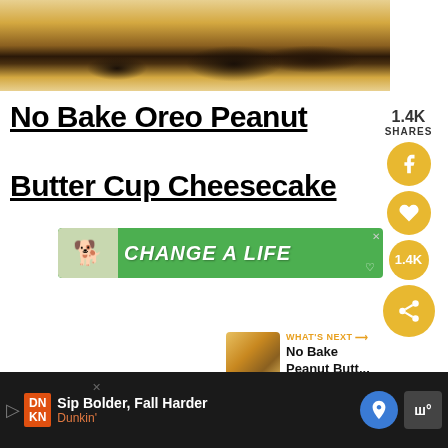[Figure (photo): Close-up photo of a no-bake peanut butter cup cheesecake with chocolate chips on top, cropped to show just the top portion]
No Bake Oreo Peanut Butter Cup Cheesecake
[Figure (infographic): Social sharing sidebar with 1.4K shares, Facebook button, heart/save button, 1.4K count, and share button — all in gold/yellow circles]
[Figure (infographic): Green advertisement banner reading CHANGE A LIFE with a dog image on the left]
[Figure (infographic): WHAT'S NEXT panel with thumbnail and text reading No Bake Peanut Butt...]
[Figure (infographic): Bottom advertisement bar: Dunkin' — Sip Bolder, Fall Harder, with DN/KN logo, map pin icon, and W° logo]